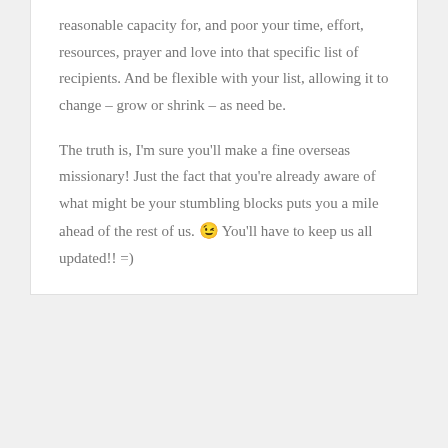reasonable capacity for, and poor your time, effort, resources, prayer and love into that specific list of recipients. And be flexible with your list, allowing it to change – grow or shrink – as need be.

The truth is, I'm sure you'll make a fine overseas missionary! Just the fact that you're already aware of what might be your stumbling blocks puts you a mile ahead of the rest of us. 😉 You'll have to keep us all updated!! =)
Reply
Carlien on July 27, 2010 at 10:26 am
Sooo, this is the exact that i've been wondering...